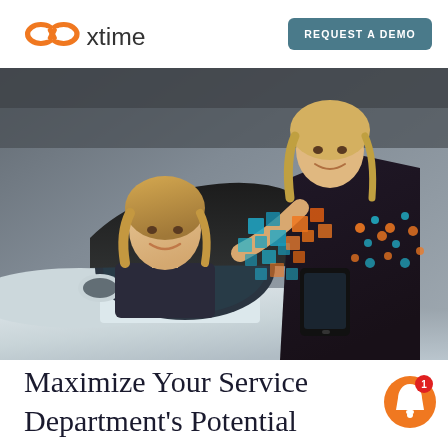[Figure (logo): Xtime logo with infinity symbol in orange and 'xtime' text in dark gray]
REQUEST A DEMO
[Figure (photo): A female service advisor leaning into a car window talking to a female driver, in an automotive dealership service area. The advisor holds a tablet. Colorful pixel/cube decorations in orange, blue, and teal overlay the image.]
Maximize Your Service Department's Potential